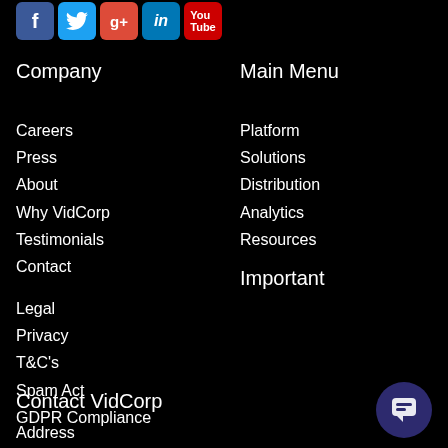[Figure (other): Social media icons row: Facebook (blue), Twitter (light blue), Google+ (red), LinkedIn (blue), YouTube (red)]
Company
Main Menu
Careers
Press
About
Why VidCorp
Testimonials
Contact
Platform
Solutions
Distribution
Analytics
Resources
Important
Legal
Privacy
T&C's
Spam Act
GDPR Compliance
Contact VidCorp
Address